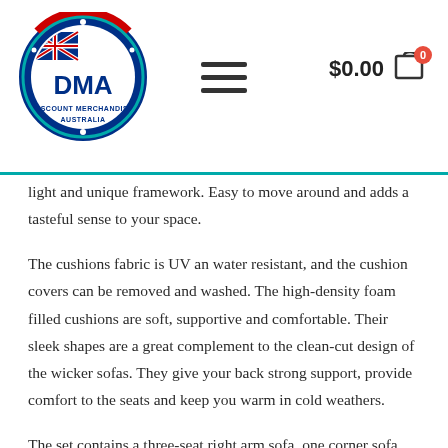[Figure (logo): DMA Discount Merchandise Australia circular logo with Australian flag, blue and red circle border]
[Figure (other): Hamburger menu icon (three horizontal lines)]
$0.00 (cart icon with 0 badge)
light and unique framework. Easy to move around and adds a tasteful sense to your space.
The cushions fabric is UV an water resistant, and the cushion covers can be removed and washed. The high-density foam filled cushions are soft, supportive and comfortable. Their sleek shapes are a great complement to the clean-cut design of the wicker sofas. They give your back strong support, provide comfort to the seats and keep you warm in cold weathers.
The set contains a three-seat right arm sofa, one corner sofa, one left arm double sofa
Features.